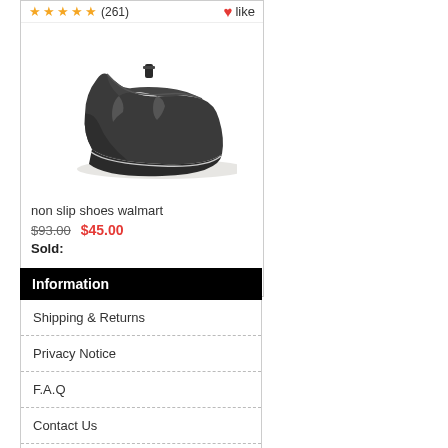[Figure (photo): Black leather slip-on shoe product photo on white background]
non slip shoes walmart
$93.00  $45.00
Sold:
(270) like
Information
Shipping & Returns
Privacy Notice
F.A.Q
Contact Us
Site Map